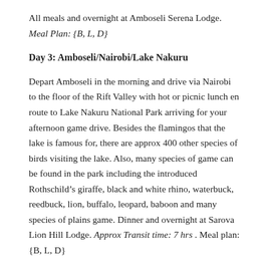All meals and overnight at Amboseli Serena Lodge.
Meal Plan: {B, L, D}
Day 3: Amboseli/Nairobi/Lake Nakuru
Depart Amboseli in the morning and drive via Nairobi to the floor of the Rift Valley with hot or picnic lunch en route to Lake Nakuru National Park arriving for your afternoon game drive. Besides the flamingos that the lake is famous for, there are approx 400 other species of birds visiting the lake. Also, many species of game can be found in the park including the introduced Rothschild’s giraffe, black and white rhino, waterbuck, reedbuck, lion, buffalo, leopard, baboon and many species of plains game. Dinner and overnight at Sarova Lion Hill Lodge. Approx Transit time: 7 hrs . Meal plan: {B, L, D}